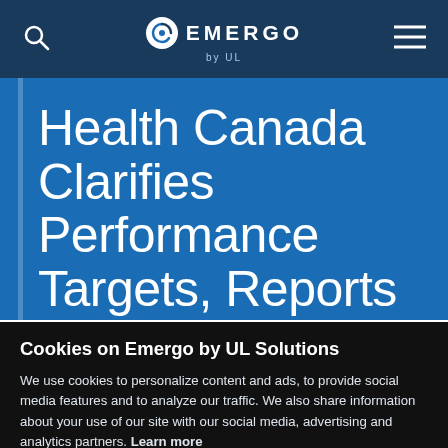EMERGO by UL
Health Canada Clarifies Performance Targets, Reports Decline in MDL
Cookies on Emergo by UL Solutions
We use cookies to personalize content and ads, to provide social media features and to analyze our traffic. We also share information about your use of our site with our social media, advertising and analytics partners. Learn more